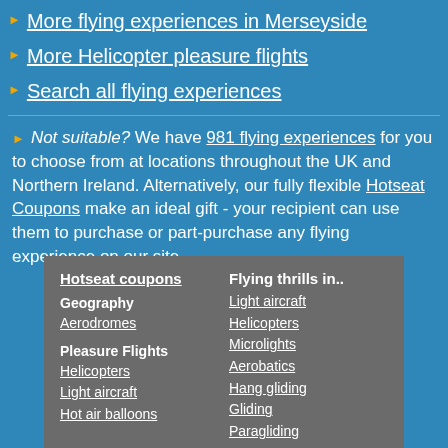More flying experiences in Merseyside
More Helicopter pleasure flights
Search all flying experiences
Not suitable? We have 981 flying experiences for you to choose from at locations throughout the UK and Northern Ireland. Alternatively, our fully flexible Hotseat Coupons make an ideal gift - your recipient can use them to purchase or part-purchase any flying experience on our site.
Hotseat coupons
Geography
Aerodromes
Pleasure Flights
Helicopters
Light aircraft
Hot air balloons
Flying thrills in..
Light aircraft
Helicopters
Microlights
Aerobatics
Hang gliding
Gliding
Paragliding